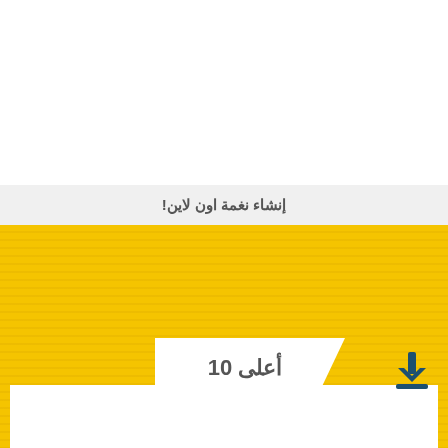إنشاء نغمة اون لاين!
[Figure (illustration): Yellow wavy textured background section with decorative wave pattern lines]
أعلى 10
[Figure (photo): A person with braided hair, partial head visible, gray background]
[Figure (illustration): Dark teal/navy download icon (downward arrow with underline)]